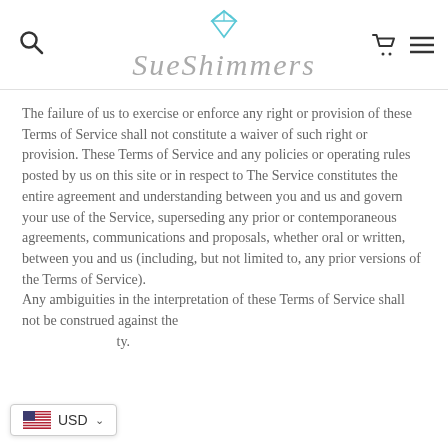Sue Shimmers
The failure of us to exercise or enforce any right or provision of these Terms of Service shall not constitute a waiver of such right or provision. These Terms of Service and any policies or operating rules posted by us on this site or in respect to The Service constitutes the entire agreement and understanding between you and us and govern your use of the Service, superseding any prior or contemporaneous agreements, communications and proposals, whether oral or written, between you and us (including, but not limited to, any prior versions of the Terms of Service).
Any ambiguities in the interpretation of these Terms of Service shall not be construed against the drafting party.